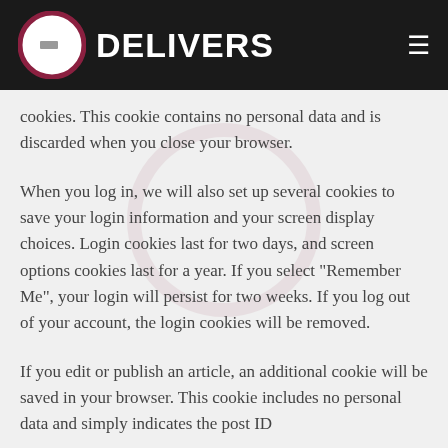C DELIVERS
cookies. This cookie contains no personal data and is discarded when you close your browser.
When you log in, we will also set up several cookies to save your login information and your screen display choices. Login cookies last for two days, and screen options cookies last for a year. If you select "Remember Me", your login will persist for two weeks. If you log out of your account, the login cookies will be removed.
If you edit or publish an article, an additional cookie will be saved in your browser. This cookie includes no personal data and simply indicates the post ID